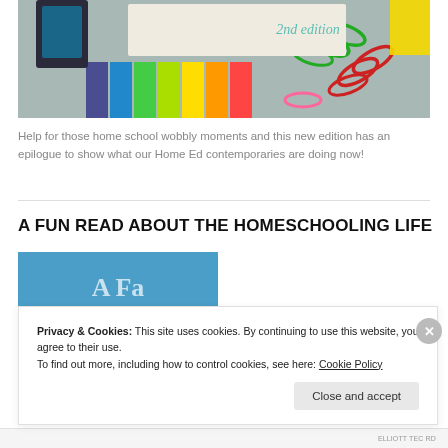[Figure (photo): Photo of colorful school supplies including paper clips, sticky notes, and colorful tabs on a gray surface, with a cream-colored card showing '2nd edition' in teal italic text]
Help for those home school wobbly moments and this new edition has an epilogue to show what our Home Ed contemporaries are doing now!
A FUN READ ABOUT THE HOMESCHOOLING LIFE
[Figure (photo): Partial view of a book cover with blue background and partial text visible]
Privacy & Cookies: This site uses cookies. By continuing to use this website, you agree to their use.
To find out more, including how to control cookies, see here: Cookie Policy
Close and accept
ELLIOTT TEC RD